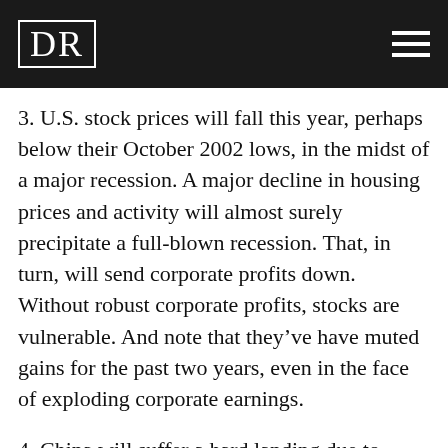DR
3. U.S. stock prices will fall this year, perhaps below their October 2002 lows, in the midst of a major recession. A major decline in housing prices and activity will almost surely precipitate a full-blown recession. That, in turn, will send corporate profits down. Without robust corporate profits, stocks are vulnerable. And note that they've have muted gains for the past two years, even in the face of exploding corporate earnings.
4. China will suffer a hard landing due to domestic cooling measures and the U.S. recession. China is attempting to cool her white-hot economy, but is having difficulty. Her economy is more and more market-driven, but still is state-controlled in many